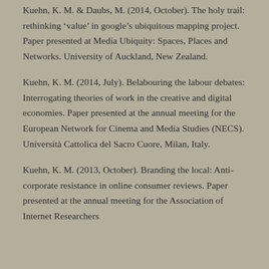Kuehn, K. M. & Daubs, M. (2014, October). The holy trail: rethinking 'value' in google's ubiquitous mapping project. Paper presented at Media Ubiquity: Spaces, Places and Networks. University of Auckland, New Zealand.
Kuehn, K. M. (2014, July). Belabouring the labour debates: Interrogating theories of work in the creative and digital economies. Paper presented at the annual meeting for the European Network for Cinema and Media Studies (NECS). Università Cattolica del Sacro Cuore, Milan, Italy.
Kuehn, K. M. (2013, October). Branding the local: Anti-corporate resistance in online consumer reviews. Paper presented at the annual meeting for the Association of Internet Researchers